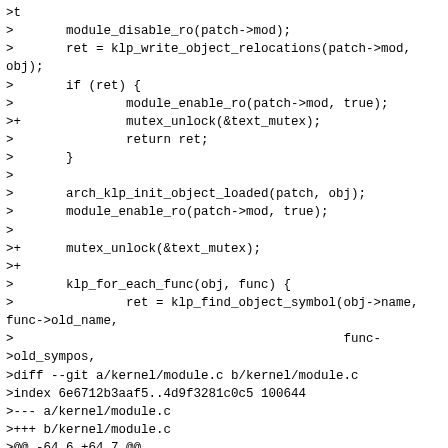>t
>       module_disable_ro(patch->mod);
>       ret = klp_write_object_relocations(patch->mod,
obj);
>       if (ret) {
>               module_enable_ro(patch->mod, true);
>+              mutex_unlock(&text_mutex);
>               return ret;
>       }
>
>       arch_klp_init_object_loaded(patch, obj);
>       module_enable_ro(patch->mod, true);
>
>+      mutex_unlock(&text_mutex);
>+
>       klp_for_each_func(obj, func) {
>               ret = klp_find_object_symbol(obj->name,
func->old_name,
>                                            func-
>old_sympos,
>diff --git a/kernel/module.c b/kernel/module.c
>index 6e6712b3aaf5..4d9f3281c0c5 100644
>--- a/kernel/module.c
>+++ b/kernel/module.c
>@@ -64,6 +64,7 @@
> #include <linux/bsearch.h>
> #include <linux/dynamic_debug.h>
> #include <linux/audit.h>
>+#include <linux/memory.h>
> #include <uapi/linux/module.h>
> #include "module_internal.h"